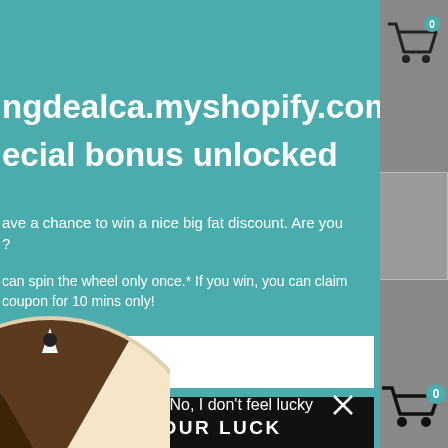[Figure (screenshot): Shopify store popup modal with teal background, showing a spin-the-wheel lucky coupon promotion. Includes site URL, headline, body text, email input field, TRY YOUR LUCK button, dismiss link, and partial spinning wheel graphic. Right side shows gray website sidebar with shopping cart icon.]
ngdealca.myshopify.com
ecial bonus unlocked
ave a chance to win a nice big fat discount. Are you ?
can spin the wheel only once.* If you win, you can claim coupon for 10 mins only!
ail
TRY YOUR LUCK
No, I don't feel lucky